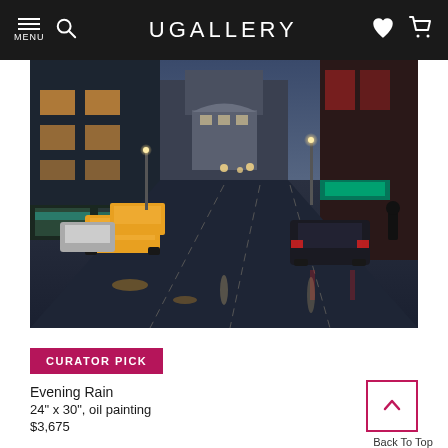UGALLERY — MENU, Search, Heart, Cart icons
[Figure (photo): Oil painting titled 'Evening Rain' showing a rainy urban city street at night with yellow taxis, cars, street lights, reflections on wet pavement, tall buildings on both sides, and pedestrians on sidewalk.]
CURATOR PICK
Evening Rain
24" x 30", oil painting
$3,675
Back To Top